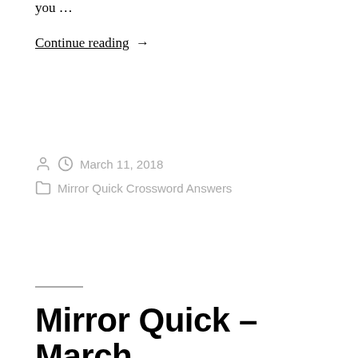you …
Continue reading →
March 11, 2018
Mirror Quick Crossword Answers
Mirror Quick – March 10 2108 Crossword